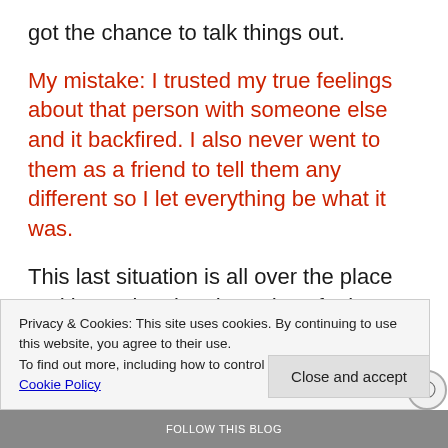got the chance to talk things out.
My mistake: I trusted my true feelings about that person with someone else and it backfired. I also never went to them as a friend to tell them any different so I let everything be what it was.
This last situation is all over the place and it's a situation that I don't feel would've happened if someone hadn't talked my blog post up to be something that it wasn't. I talked about this in my
Privacy & Cookies: This site uses cookies. By continuing to use this website, you agree to their use.
To find out more, including how to control cookies, see here: Cookie Policy
Close and accept